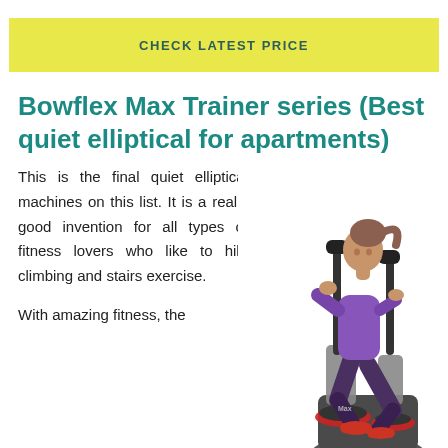[Figure (other): Yellow/green button with text CHECK LATEST PRICE]
Bowflex Max Trainer series (Best quiet elliptical for apartments)
This is the final quiet elliptical machines on this list. It is a really good invention for all types of fitness lovers who like to hile climbing and stairs exercise.
[Figure (photo): Woman exercising on a Bowflex Max Trainer elliptical machine]
With amazing fitness, the